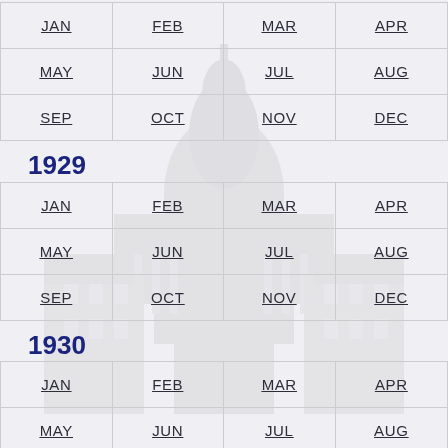JAN FEB MAR APR MAY JUN JUL AUG SEP OCT NOV DEC
1929
JAN FEB MAR APR MAY JUN JUL AUG SEP OCT NOV DEC
1930
JAN FEB MAR APR MAY JUN JUL AUG